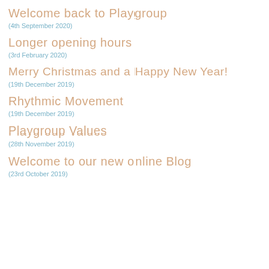Welcome back to Playgroup
(4th September 2020)
Longer opening hours
(3rd February 2020)
Merry Christmas and a Happy New Year!
(19th December 2019)
Rhythmic Movement
(19th December 2019)
Playgroup Values
(28th November 2019)
Welcome to our new online Blog
(23rd October 2019)